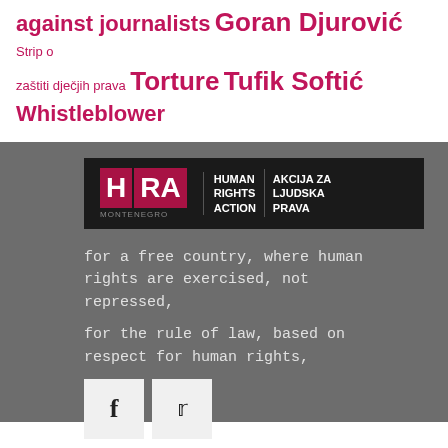against journalists Goran Djurović Strip o zaštiti dječjih prava Torture Tufik Softić Whistleblower
[Figure (logo): HRA - Human Rights Action Montenegro / Akcija za Ljudska Prava logo on black background]
for a free country, where human rights are exercised, not repressed,
for the rule of law, based on respect for human rights,
Email